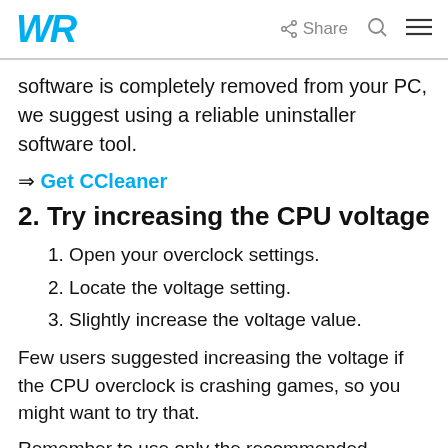WR | Share
software is completely removed from your PC, we suggest using a reliable uninstaller software tool.
⇒ Get CCleaner
2. Try increasing the CPU voltage
1. Open your overclock settings.
2. Locate the voltage setting.
3. Slightly increase the voltage value.
Few users suggested increasing the voltage if the CPU overclock is crashing games, so you might want to try that.
Remember to use only the recommended voltage